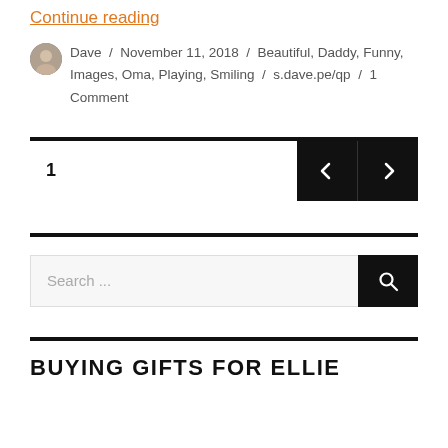Continue reading
Dave / November 11, 2018 / Beautiful, Daddy, Funny, Images, Oma, Playing, Smiling / s.dave.pe/qp / 1 Comment
1
[Figure (infographic): Pagination navigation with left and right arrow buttons on black background]
Search ...
[Figure (infographic): Search bar with search icon button]
BUYING GIFTS FOR ELLIE